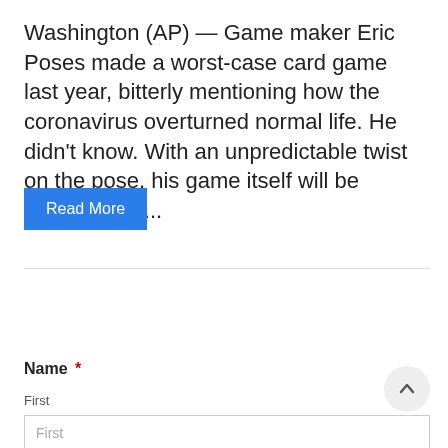Washington (AP) — Game maker Eric Poses made a worst-case card game last year, bitterly mentioning how the coronavirus overturned normal life. He didn't know. With an unpredictable twist on the pose, his game itself will be caught up in...
Read More
Name *
First
First